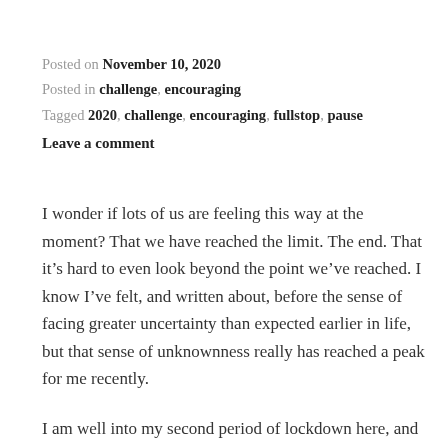Posted on November 10, 2020
Posted in challenge, encouraging
Tagged 2020, challenge, encouraging, fullstop, pause
Leave a comment
I wonder if lots of us are feeling this way at the moment? That we have reached the limit. The end. That it’s hard to even look beyond the point we’ve reached. I know I’ve felt, and written about, before the sense of facing greater uncertainty than expected earlier in life, but that sense of unknownness really has reached a peak for me recently.
I am well into my second period of lockdown here, and much as it seems there are glimmers of hope for a vaccine and a return to ‘normal’, I’m not quite sure